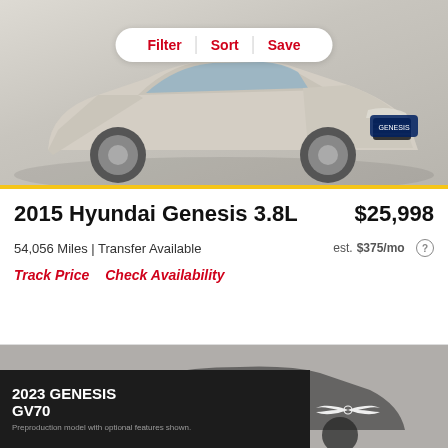[Figure (photo): Gold/champagne 2015 Hyundai Genesis 3.8L sedan photographed on a circular turntable in a studio setting, with Filter, Sort, Save navigation buttons overlaid at the top]
2015 Hyundai Genesis 3.8L
$25,998
54,056 Miles | Transfer Available
est. $375/mo
Track Price
Check Availability
[Figure (photo): Partially visible dark SUV (likely Genesis GV70) with a Genesis GV70 advertisement overlay showing '2023 GENESIS GV70 Preproduction model with optional features shown.' text and Genesis logo on a dark background]